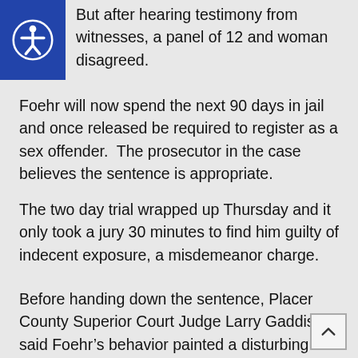But after hearing testimony from witnesses, a panel of 12 and woman disagreed.
Foehr will now spend the next 90 days in jail and once released be required to register as a sex offender.  The prosecutor in the case believes the sentence is appropriate.
The two day trial wrapped up Thursday and it only took a jury 30 minutes to find him guilty of indecent exposure, a misdemeanor charge.
Before handing down the sentence, Placer County Superior Court Judge Larry Gaddis said Foehr’s behavior painted a disturbing picture and, “This is a serious offense that offends people in the community.”